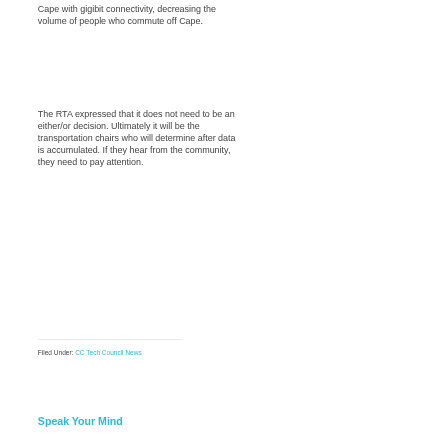Cape with gigibit connectivity, decreasing the volume of people who commute off Cape.
The RTA expressed that it does not need to be an either/or decision. Ultimately it will be the transportation chairs who will determine after data is accumulated. If they hear from the community, they need to pay attention.
Filed Under: CC Tech Council News
Speak Your Mind